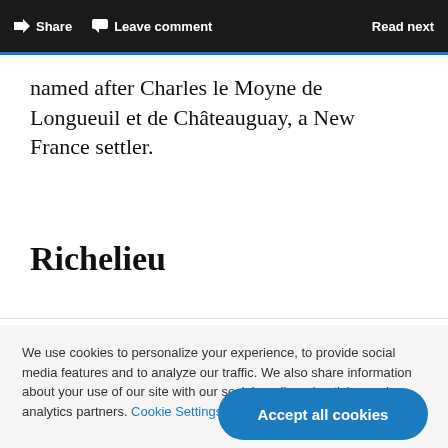Share  Leave comment  Read next
named after Charles le Moyne de Longueuil et de Châteauguay, a New France settler.
Richelieu
We use cookies to personalize your experience, to provide social media features and to analyze our traffic. We also share information about your use of our site with our social media, advertising and analytics partners. Cookie Settings
Accept all cookies